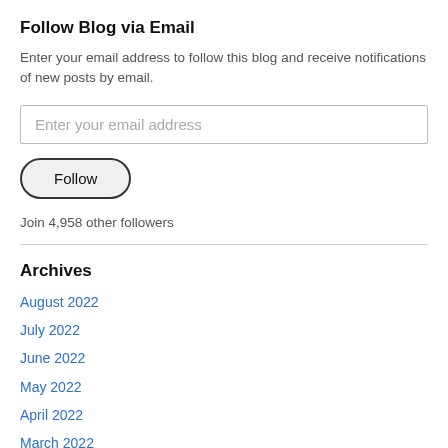Follow Blog via Email
Enter your email address to follow this blog and receive notifications of new posts by email.
Enter your email address
Follow
Join 4,958 other followers
Archives
August 2022
July 2022
June 2022
May 2022
April 2022
March 2022
February 2022